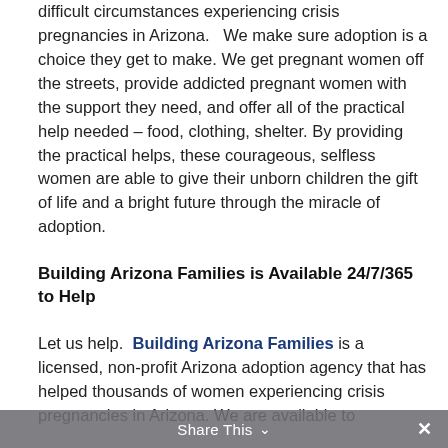difficult circumstances experiencing crisis pregnancies in Arizona.   We make sure adoption is a choice they get to make. We get pregnant women off the streets, provide addicted pregnant women with the support they need, and offer all of the practical help needed – food, clothing, shelter. By providing the practical helps, these courageous, selfless women are able to give their unborn children the gift of life and a bright future through the miracle of adoption.
Building Arizona Families is Available 24/7/365 to Help
Let us help.  Building Arizona Families is a licensed, non-profit Arizona adoption agency that has helped thousands of women experiencing crisis pregnancies in Arizona. We are available to
Share This ∨  ×